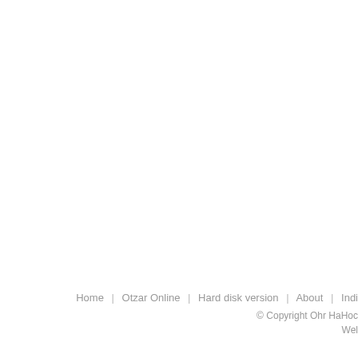Home | Otzar Online | Hard disk version | About | Indi...
© Copyright Ohr HaHoc...
Wel...